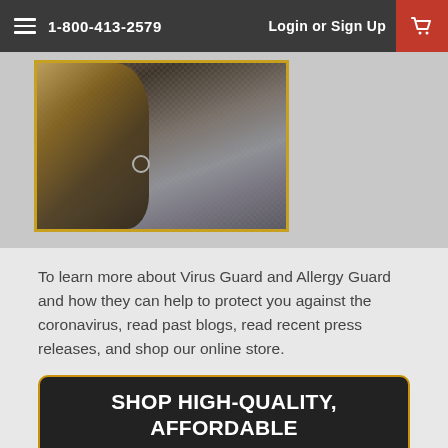1-800-413-2579   Login or Sign Up
[Figure (photo): Close-up photo of a cat or pet near a screen/mesh door or window, with a metal ring/hook visible. Gold-bordered photo on grey background.]
To learn more about Virus Guard and Allergy Guard and how they can help to protect you against the coronavirus, read past blogs, read recent press releases, and shop our online store.
[Figure (infographic): Dark banner with rounded corners and gold border reading SHOP HIGH-QUALITY, AFFORDABLE SCREEN PRODUCTS with a red SHOP ONLINE button.]
Share This Article
[Figure (illustration): Social share icons: Facebook, Email, Print, Twitter, Pinterest]